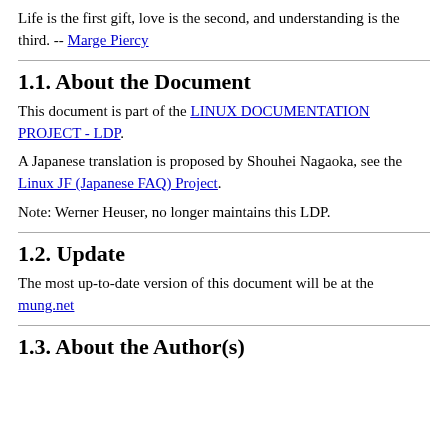Life is the first gift, love is the second, and understanding is the third. -- Marge Piercy
1.1. About the Document
This document is part of the LINUX DOCUMENTATION PROJECT - LDP.
A Japanese translation is proposed by Shouhei Nagaoka, see the Linux JF (Japanese FAQ) Project.
Note: Werner Heuser, no longer maintains this LDP.
1.2. Update
The most up-to-date version of this document will be at the mung.net
1.3. About the Author(s)